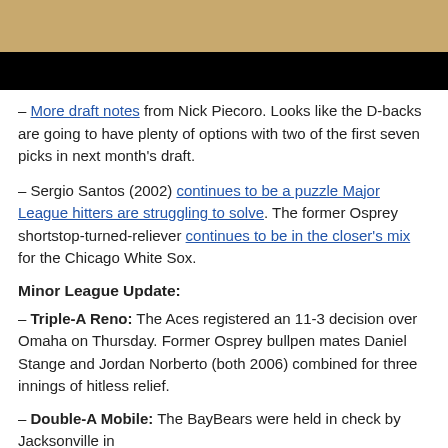[Figure (photo): Top portion of a sports photo showing a basketball court floor (tan) with partial view of player legs/shoes, below which is a black bar (video player or cropped image).]
– More draft notes from Nick Piecoro. Looks like the D-backs are going to have plenty of options with two of the first seven picks in next month's draft.
– Sergio Santos (2002) continues to be a puzzle Major League hitters are struggling to solve. The former Osprey shortstop-turned-reliever continues to be in the closer's mix for the Chicago White Sox.
Minor League Update:
– Triple-A Reno: The Aces registered an 11-3 decision over Omaha on Thursday. Former Osprey bullpen mates Daniel Stange and Jordan Norberto (both 2006) combined for three innings of hitless relief.
– Double-A Mobile: The BayBears were held in check by Jacksonville in